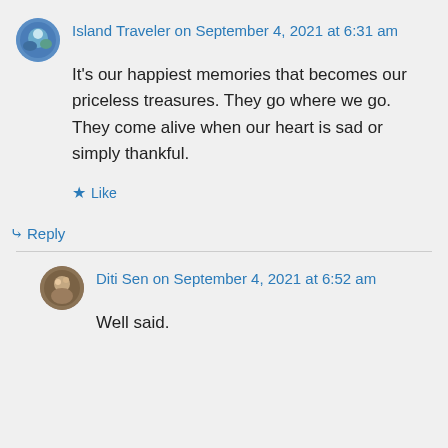Island Traveler on September 4, 2021 at 6:31 am
It's our happiest memories that becomes our priceless treasures. They go where we go. They come alive when our heart is sad or simply thankful.
★ Like
↳ Reply
Diti Sen on September 4, 2021 at 6:52 am
Well said.